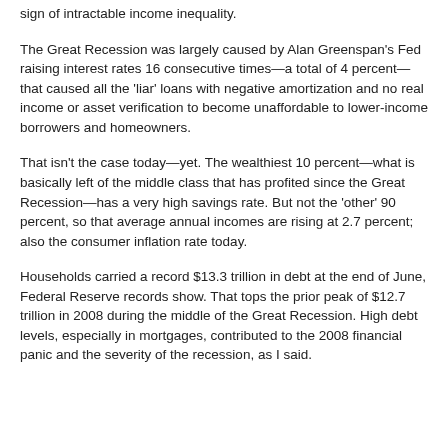sign of intractable income inequality.
The Great Recession was largely caused by Alan Greenspan's Fed raising interest rates 16 consecutive times—a total of 4 percent—that caused all the 'liar' loans with negative amortization and no real income or asset verification to become unaffordable to lower-income borrowers and homeowners.
That isn't the case today—yet. The wealthiest 10 percent—what is basically left of the middle class that has profited since the Great Recession—has a very high savings rate. But not the 'other' 90 percent, so that average annual incomes are rising at 2.7 percent; also the consumer inflation rate today.
Households carried a record $13.3 trillion in debt at the end of June, Federal Reserve records show. That tops the prior peak of $12.7 trillion in 2008 during the middle of the Great Recession. High debt levels, especially in mortgages, contributed to the 2008 financial panic and the severity of the recession, as I said.